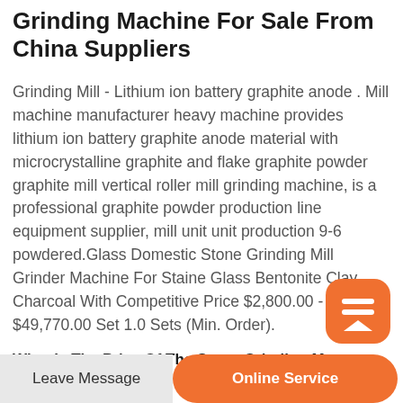Grinding Machine For Sale From China Suppliers
Grinding Mill - Lithium ion battery graphite anode . Mill machine manufacturer heavy machine provides lithium ion battery graphite anode material with microcrystalline graphite and flake graphite powder graphite mill vertical roller mill grinding machine, is a professional graphite powder production line equipment supplier, mill unit unit production 9-6 powdered.Glass Domestic Stone Grinding Mill Grinder Machine For Staine Glass Bentonite Clay Charcoal With Competitive Price $2,800.00 - $49,770.00 Set 1.0 Sets (Min. Order).
[Figure (other): Orange rounded square button with a white icon (two horizontal bars above an upward chevron), used as a chat/scroll-up shortcut]
What Is The Price Of The Stone Grinding M...
Leave Message | Online Service